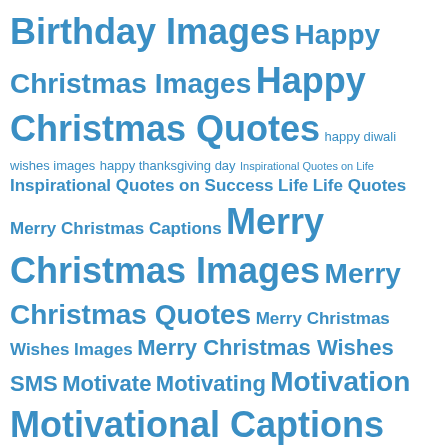Birthday Images Happy Christmas Images Happy Christmas Quotes happy diwali wishes images happy thanksgiving day Inspirational Quotes on Life Inspirational Quotes on Success Life Life Quotes Merry Christmas Captions Merry Christmas Images Merry Christmas Quotes Merry Christmas Wishes Images Merry Christmas Wishes SMS Motivate Motivating Motivation Motivational Captions Motivational Images Motivational Saying Motivational Words Sorry Captions Sorry Image Sorry Quotes Sorry Sayings thanksgiving quotes Wedding Anniversary Wedding